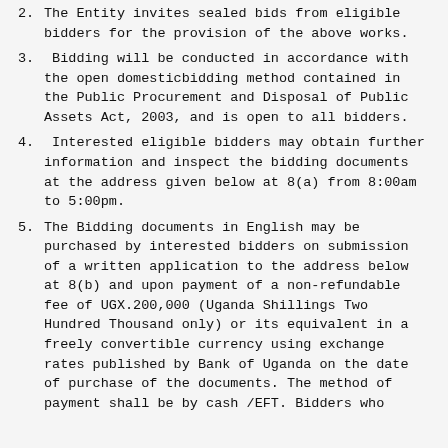2. The Entity invites sealed bids from eligible bidders for the provision of the above works.
3. Bidding will be conducted in accordance with the open domesticbidding method contained in the Public Procurement and Disposal of Public Assets Act, 2003, and is open to all bidders.
4. Interested eligible bidders may obtain further information and inspect the bidding documents at the address given below at 8(a) from 8:00am to 5:00pm.
5. The Bidding documents in English may be purchased by interested bidders on submission of a written application to the address below at 8(b) and upon payment of a non-refundable fee of UGX.200,000 (Uganda Shillings Two Hundred Thousand only) or its equivalent in a freely convertible currency using exchange rates published by Bank of Uganda on the date of purchase of the documents. The method of payment shall be by cash /EFT. Bidders who